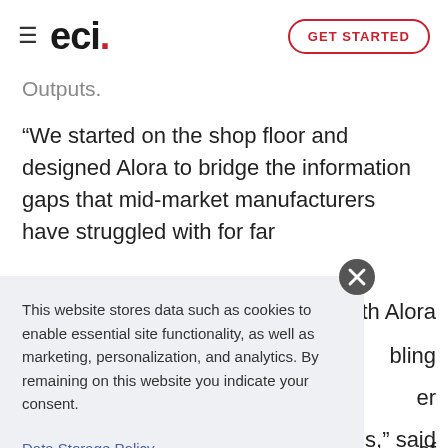eci | GET STARTED
Outputs.
“We started on the shop floor and designed Alora to bridge the information gaps that mid-market manufacturers have struggled with for far
This website stores data such as cookies to enable essential site functionality, as well as marketing, personalization, and analytics. By remaining on this website you indicate your consent.
Data Storage Policy
with Alora
bling
er
s,” said
of